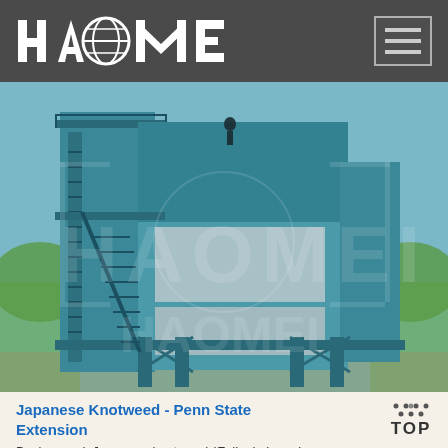HAOMEI
[Figure (photo): Industrial building / plant equipment - tall teal/blue steel structure with stairs, platforms, and rectangular panels, set outdoors with trees in background]
Japanese Knotweed - Penn State Extension
Background. Japanese knotweed (Fallopia japonica syn. Polygonum cuspidatum) an herbaceous perennial member of the buckwheat family was introduced from East Asia in the late